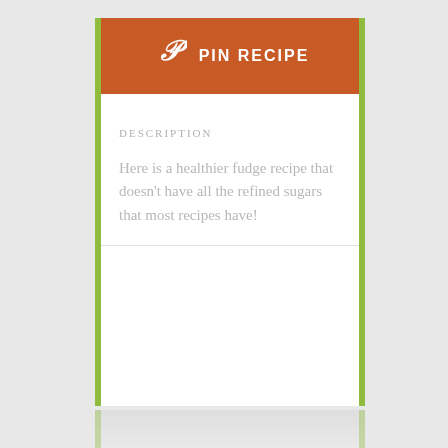[Figure (other): Pinterest 'PIN RECIPE' button with white Pinterest logo icon on an orange/burnt-orange background]
DESCRIPTION
Here is a healthier fudge recipe that doesn't have all the refined sugars that most recipes have!